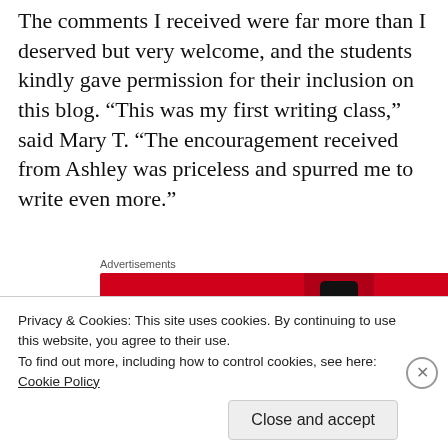The comments I received were far more than I deserved but very welcome, and the students kindly gave permission for their inclusion on this blog. “This was my first writing class,” said Mary T. “The encouragement received from Ashley was priceless and spurred me to write even more.”
[Figure (other): Pocket Casts advertisement banner: red background with text 'An app by listeners, for listeners.' and Pocket Casts logo, with a smartphone image showing 'distributed' text.]
“Ashley Memory is a great teacher – positive,
Privacy & Cookies: This site uses cookies. By continuing to use this website, you agree to their use.
To find out more, including how to control cookies, see here:
Cookie Policy
Close and accept